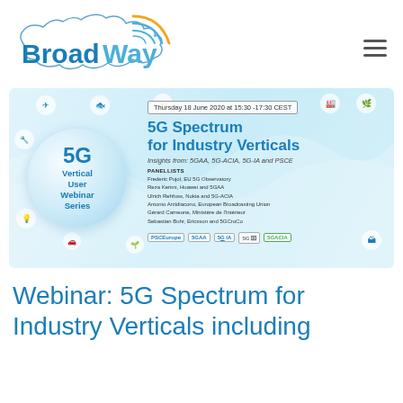[Figure (logo): BroadWay project logo with globe/map outline and wireless signal arc in blue and yellow]
[Figure (infographic): 5G Vertical User Webinar Series banner. Title: '5G Spectrum for Industry Verticals'. Date: Thursday 18 June 2020 at 15:30–17:30 CEST. Insights from: 5GAA, 5G-ACIA, 5G-IA and PSCE. Panellists: Frederic Pujol EU 5G Observatory; Reza Karimi Huawei and 5GAA; Ulrich Rehfuss Nokia and 5G-ACIA; Antonio Arcidiacono European Broadcasting Union; Gérard Carneone Ministère de l'Intérieur; Sebastian Buhr Ericsson and 5GCroCo. Logos: PSCEurope, 5GAA, 5G-IA, 5G (European 5G Observatory), 5G-ACIA.]
Webinar: 5G Spectrum for Industry Verticals including